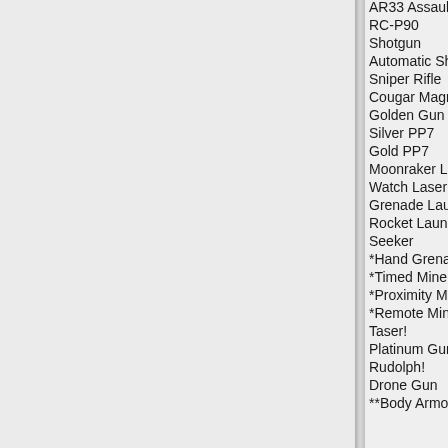AR33 Assault Rifle (truncated at top)
RC-P90
Shotgun
Automatic Shotgun
Sniper Rifle
Cougar Magnum
Golden Gun
Silver PP7
Gold PP7
Moonraker Laser
Watch Laser!
Grenade Launcher
Rocket Launcher
Seeker
*Hand Grenade
*Timed Mine
*Proximity Mine
*Remote Mine
Taser!
Platinum Gun!
Rudolph!
Drone Gun
**Body Armor